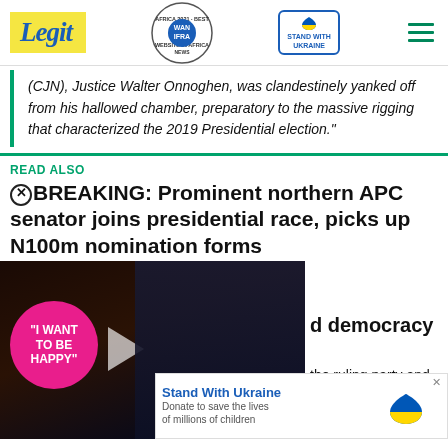Legit | WAN IFRA 2021 Best News Website in Africa | Stand With Ukraine
(CJN), Justice Walter Onnoghen, was clandestinely yanked off from his hallowed chamber, preparatory to the massive rigging that characterized the 2019 Presidential election."
READ ALSO
BREAKING: Prominent northern APC senator joins presidential race, picks up N100m nomination forms
d democracy
the ruling party and the
[Figure (screenshot): Video overlay with pink badge reading 'I WANT TO BE HAPPY' and a person in background, with red chevron/minimize button]
Stand With Ukraine — Donate to save the lives of millions of children